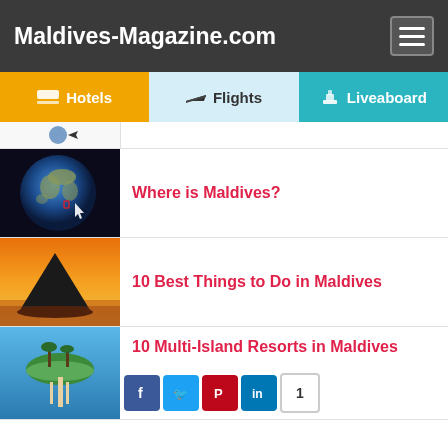Maldives-Magazine.com
[Figure (screenshot): Navigation tabs: Hotels, Flights, Liveaboard]
[Figure (photo): Globe image showing location of Maldives]
Where is Maldives?
[Figure (photo): Silhouette of traditional Maldivian dhoni boat at sunset]
10 Best Things to Do in Maldives
[Figure (photo): Aerial view of tropical island with pier]
10 Multi-Island Resorts in Maldives